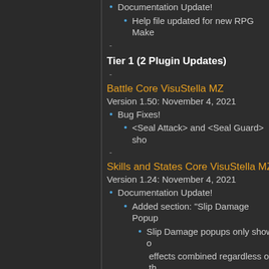Documentation Update!
Help file updated for new RPG Make
-
Tier 1 (2 Plugin Updates)
-
Battle Core VisuStella MZ
Version 1.50: November 4, 2021
Bug Fixes!
<Seal Attack> and <Seal Guard> sho
-
Skills and States Core VisuStella MZ
Version 1.24: November 4, 2021
Documentation Update!
Added section: "Slip Damage Popup
Slip Damage popups only show o
effects combined regardless of th